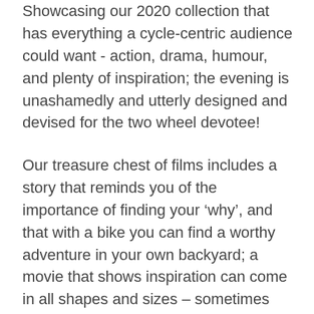Showcasing our 2020 collection that has everything a cycle-centric audience could want - action, drama, humour, and plenty of inspiration; the evening is unashamedly and utterly designed and devised for the two wheel devotee!
Our treasure chest of films includes a story that reminds you of the importance of finding your ‘why’, and that with a bike you can find a worthy adventure in your own backyard; a movie that shows inspiration can come in all shapes and sizes – sometimes that shape and size is a seven-year-old girl who likes to ride BMX; an audacious mountain climbing challenge; two friends on a mission picking up rubbish; a beautiful story about the power of two wheels and a community built through bicycling; and a part documentary/ part